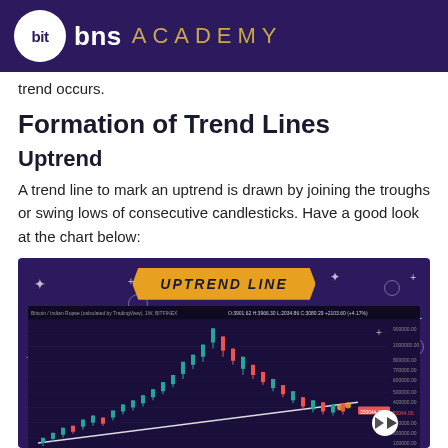bit bns ACADEMY
trend occurs.
Formation of Trend Lines
Uptrend
A trend line to mark an uptrend is drawn by joining the troughs or swing lows of consecutive candlesticks. Have a good look at the chart below:
[Figure (screenshot): TradingView candlestick chart of Bitcoin/Indian Rupee on BITFNEX with an uptrend line drawn from lower-left to upper-right connecting swing lows. A gold banner at top reads 'UPTREND LINE'. Stars and decorative circles surround the chart on a dark purple background. A play button is visible in the lower right of the chart.]